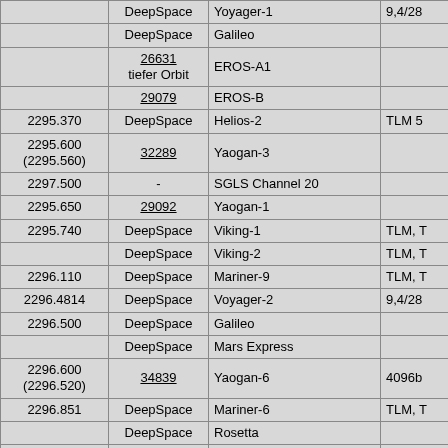| Frequency (MHz) | NORAD/Type | Spacecraft | Notes |
| --- | --- | --- | --- |
|  | DeepSpace | Yoyager-1 | 9,4/28 |
|  | DeepSpace | Galileo |  |
|  | 26631
tiefer Orbit | EROS-A1 |  |
|  | 29079 | EROS-B |  |
| 2295.370 | DeepSpace | Helios-2 | TLM 5 |
| 2295.600
(2295.560) | 32289 | Yaogan-3 |  |
| 2297.500 | - | SGLS Channel 20 |  |
| 2295.650 | 29092 | Yaogan-1 |  |
| 2295.740 | DeepSpace | Viking-1 | TLM, T |
|  | DeepSpace | Viking-2 | TLM, T |
| 2296.110 | DeepSpace | Mariner-9 | TLM, T |
| 2296.4814 | DeepSpace | Voyager-2 | 9,4/28 |
| 2296.500 | DeepSpace | Galileo |  |
|  | DeepSpace | Mars Express |  |
| 2296.600
(2296.520) | 34839 | Yaogan-6 | 4096b |
| 2296.851 | DeepSpace | Mariner-6 | TLM, T |
|  | DeepSpace | Rosetta |  |
| 2297.2205 | DeepSpace | Mariner-7 | TLM, T |
| 2297.590 | DeepSpace | Helios-1 | TLM, T |
| 2297.722 | DeepSpace | Viking-2 | TLM, T |
| 2297.963 | DeepSpace | Magellan |  |